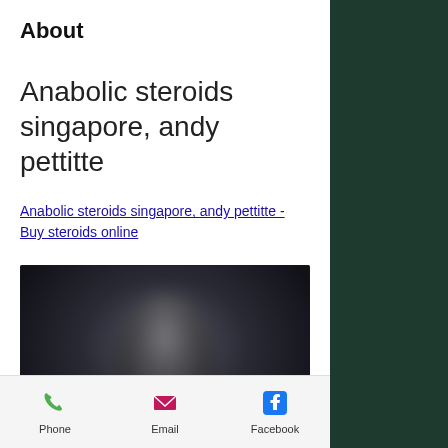About
Anabolic steroids singapore, andy pettitte
Anabolic steroids singapore, andy pettitte - Buy steroids online
[Figure (photo): Blurry dark image, appears to show a human figure, with colorful bar elements at the bottom]
Phone   Email   Facebook